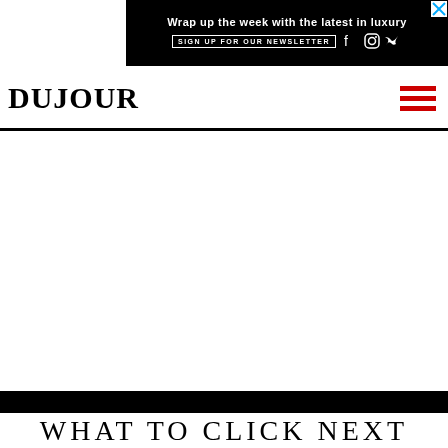[Figure (other): Advertisement banner: black background with text 'Wrap up the week with the latest in luxury', 'SIGN UP FOR OUR NEWSLETTER' button, and Facebook/Instagram/Twitter social icons. Close X button in top right corner.]
DUJOUR
WHAT TO CLICK NEXT